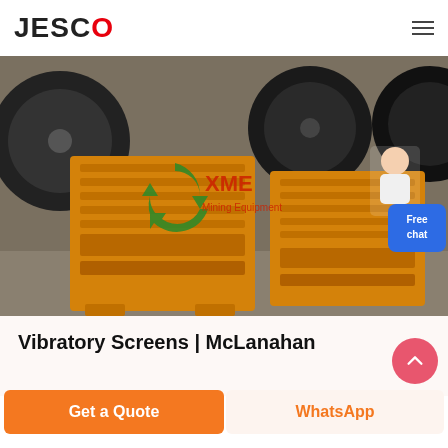JESCO
[Figure (photo): Industrial yellow jaw crusher machines in a warehouse setting, with large black flywheels visible. XME Mining Equipment watermark overlaid in green and red. A customer service representative avatar in the upper right area.]
Vibratory Screens | McLanahan
Get a Quote
WhatsApp